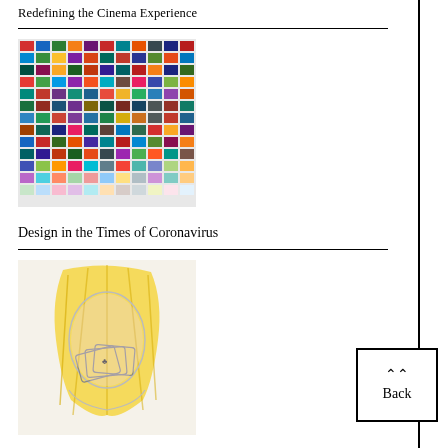Redefining the Cinema Experience
[Figure (photo): Grid of colorful country flags]
Design in the Times of Coronavirus
[Figure (illustration): Sketch illustration of a woman with yellow hair covering her face with cards]
"Art Galleries to Encourage Local Talent is the Need of the...
[Figure (photo): Interior photo of a room with large windows and a transparent bubble-like installation]
The Plastique Protection